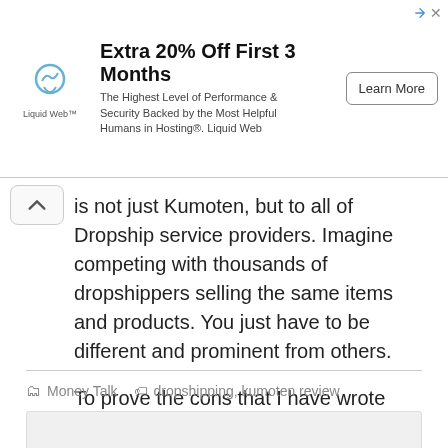[Figure (other): Liquid Web advertisement banner: logo of Liquid Web, title 'Extra 20% Off First 3 Months', subtitle 'The Highest Level of Performance & Security Backed by the Most Helpful Humans in Hosting®. Liquid Web', and a 'Learn More' button.]
is not just Kumoten, but to all of Dropship service providers. Imagine competing with thousands of dropshippers selling the same items and products. You just have to be different and prominent from others.
To prove the cons that I have wrote above, please try it yourself. I just think that this is the most honest review of Kumoten dropshipping programme there is.
Money Talk   dropshipping, kumoten review